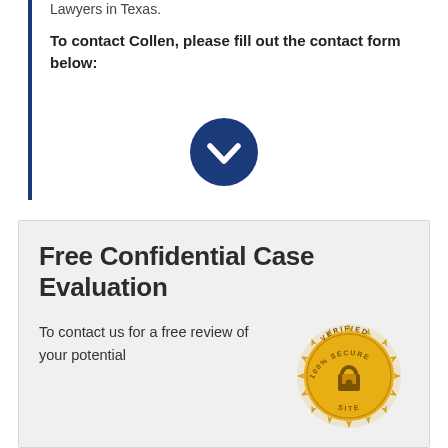Lawyers in Texas.
To contact Collen, please fill out the contact form below:
[Figure (illustration): Dark blue circle with white downward chevron/checkmark icon indicating a form below]
Free Confidential Case Evaluation
To contact us for a free review of your potential